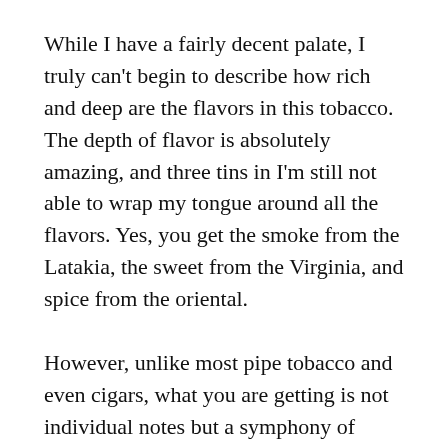While I have a fairly decent palate, I truly can't begin to describe how rich and deep are the flavors in this tobacco. The depth of flavor is absolutely amazing, and three tins in I'm still not able to wrap my tongue around all the flavors. Yes, you get the smoke from the Latakia, the sweet from the Virginia, and spice from the oriental.
However, unlike most pipe tobacco and even cigars, what you are getting is not individual notes but a symphony of flavors that are blended from the individual notes. I hope this won't offend Mr. Pease, but one of the closest things I can find to describe it is having real south India/Ceylon curries as done by natives: